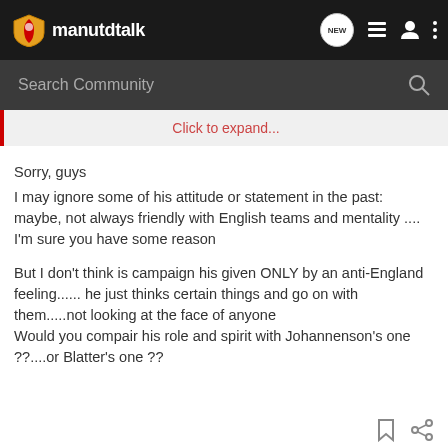manutdtalk
Search Community
Click to expand...
Sorry, guys
I may ignore some of his attitude or statement in the past: maybe, not always friendly with English teams and mentality ....
I'm sure you have some reason

But I don't think is campaign his given ONLY by an anti-England feeling...... he just thinks certain things and go on with them.....not looking at the face of anyone
Would you compair his role and spirit with Johannenson's one ??....or Blatter's one ??